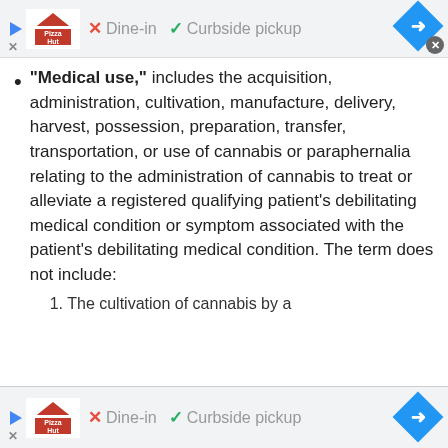[Figure (other): Pizza Hut advertisement banner at top: play button, Pizza Hut logo, X Dine-in, checkmark Curbside pickup, blue arrow diamond, close button]
"Medical use," includes the acquisition, administration, cultivation, manufacture, delivery, harvest, possession, preparation, transfer, transportation, or use of cannabis or paraphernalia relating to the administration of cannabis to treat or alleviate a registered qualifying patient's debilitating medical condition or symptom associated with the patient's debilitating medical condition. The term does not include:
1. The cultivation of cannabis by a
[Figure (other): Pizza Hut advertisement banner at bottom: play button, Pizza Hut logo, X Dine-in, checkmark Curbside pickup, blue arrow diamond]